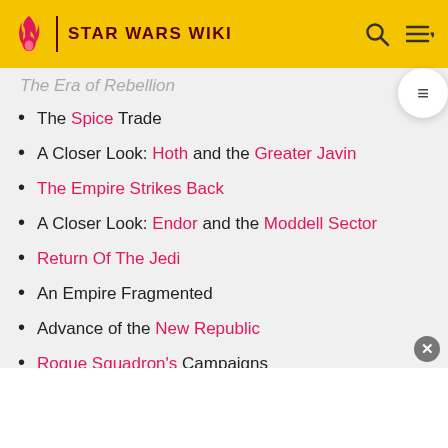STAR WARS WIKI
The Era of Rebellion
The Spice Trade
A Closer Look: Hoth and the Greater Javin
The Empire Strikes Back
A Closer Look: Endor and the Moddell Sector
Return Of The Jedi
An Empire Fragmented
Advance of the New Republic
Rogue Squadron's Campaigns
Imperial Restoration
Little Empires
The Dark Empire (10–11 ABY)